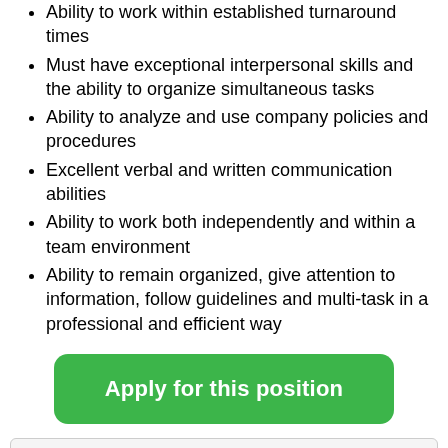Ability to work within established turnaround times
Must have exceptional interpersonal skills and the ability to organize simultaneous tasks
Ability to analyze and use company policies and procedures
Excellent verbal and written communication abilities
Ability to work both independently and within a team environment
Ability to remain organized, give attention to information, follow guidelines and multi-task in a professional and efficient way
Apply for this position
Share this job:
Please mention that you found this job on LegitimateWorkFromHomeJobs.net. This helps us in getting more companies on the platform.